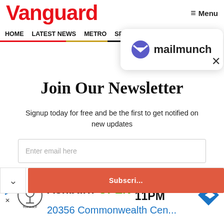Vanguard
Menu
HOME  LATEST NEWS  METRO  SPORTS  ENTERTAINMENT  VIDEOS
[Figure (logo): mailmunch logo with blue M icon and text 'mailmunch']
Join Our Newsletter
Signup today for free and be the first to get notified on new updates
Enter email here
[Figure (other): Red subscribe button (partially visible) with down-chevron arrow button]
[Figure (other): TopGolf advertisement: Ashburn OPEN 10AM-11PM, 20356 Commonwealth Cen... with navigation arrow icon]